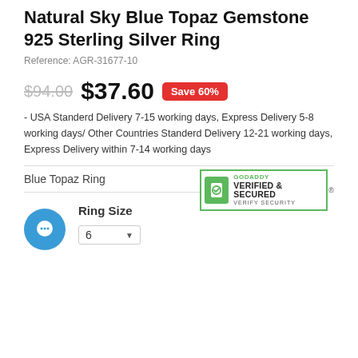Natural Sky Blue Topaz Gemstone 925 Sterling Silver Ring
Reference: AGR-31677-10
$94.00  $37.60  Save 60%
- USA Standerd Delivery 7-15 working days, Express Delivery 5-8 working days/ Other Countries Standerd Delivery 12-21 working days, Express Delivery within 7-14 working days
Blue Topaz Ring
[Figure (logo): GoDaddy Verified & Secured badge with green border and lock icon]
Ring Size
6